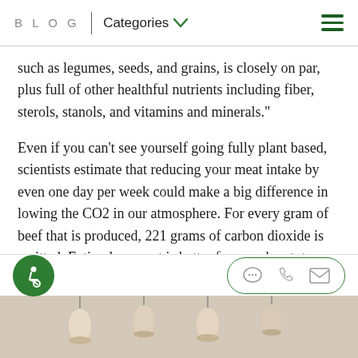BLOG | Categories
such as legumes, seeds, and grains, is closely on par, plus full of other healthful nutrients including fiber, sterols, stanols, and vitamins and minerals."
Even if you can’t see yourself going fully plant based, scientists estimate that reducing your meat intake by even one day per week could make a big difference in lowing the CO2 in our atmosphere. For every gram of beef that is produced, 221 grams of carbon dioxide is emitted. Eating less meat is better for your heart, too.
[Figure (photo): Bottom strip showing hanging pendant lights or similar objects, partially visible at the bottom of the page.]